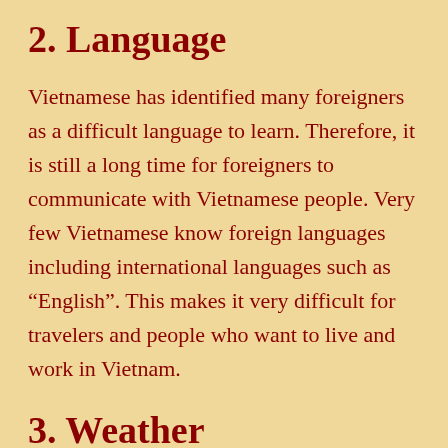2. Language
Vietnamese has identified many foreigners as a difficult language to learn. Therefore, it is still a long time for foreigners to communicate with Vietnamese people. Very few Vietnamese know foreign languages including international languages such as “English”. This makes it very difficult for travelers and people who want to live and work in Vietnam.
3. Weather
The climate of Vietnam is tropical with monsoon. It has rainy season, very hot summers, and cold winters. Besides, some places, it is not...